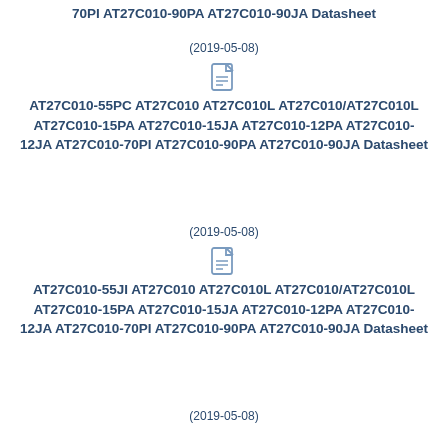70PI AT27C010-90PA AT27C010-90JA Datasheet
(2019-05-08)
[Figure (illustration): PDF file icon]
AT27C010-55PC AT27C010 AT27C010L AT27C010/AT27C010L AT27C010-15PA AT27C010-15JA AT27C010-12PA AT27C010-12JA AT27C010-70PI AT27C010-90PA AT27C010-90JA Datasheet
(2019-05-08)
[Figure (illustration): PDF file icon]
AT27C010-55JI AT27C010 AT27C010L AT27C010/AT27C010L AT27C010-15PA AT27C010-15JA AT27C010-12PA AT27C010-12JA AT27C010-70PI AT27C010-90PA AT27C010-90JA Datasheet
(2019-05-08)